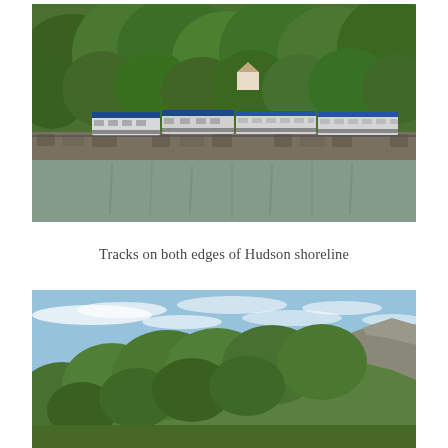[Figure (photo): A passenger train (Amtrak) running along the Hudson River shoreline. Dense green forest covers the hillside in the background. The train cars are white/silver with blue accents. Rocky embankment and calm water reflection visible.]
Tracks on both edges of Hudson shoreline
[Figure (photo): A steep green forested hillside or mountain slope with rocky outcroppings on the right side. Blue sky with light wispy clouds in the upper portion. Lush green vegetation covers most of the slope.]